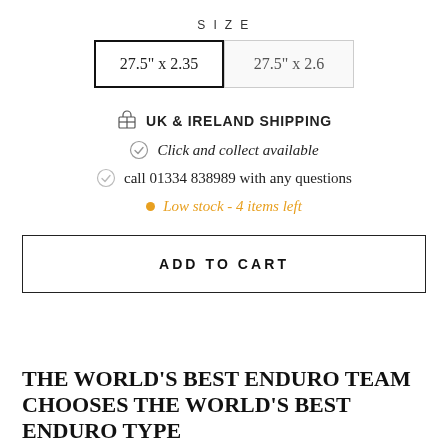SIZE
27.5" x 2.35 (selected)
27.5" x 2.6
UK & IRELAND SHIPPING
Click and collect available
call 01334 838989 with any questions
Low stock - 4 items left
ADD TO CART
THE WORLD'S BEST ENDURO TEAM CHOOSES THE WORLD'S BEST ENDURO TYPE